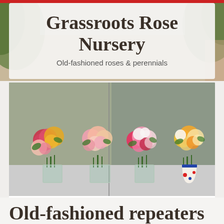Grassroots Rose Nursery
Old-fashioned roses & perennials
[Figure (photo): Four vase arrangements of mixed colourful roses including pink, yellow, red, cream and orange roses displayed on a table indoors]
≡ Menu
Old-fashioned repeaters